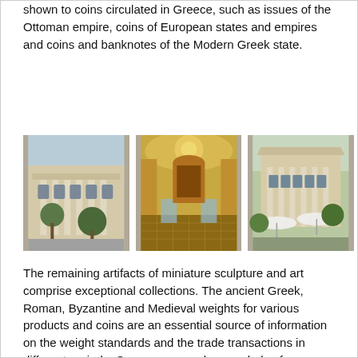shown to coins circulated in Greece, such as issues of the Ottoman empire, coins of European states and empires and coins and banknotes of the Modern Greek state.
[Figure (photo): Three photographs of a neoclassical museum building: exterior facade, ornate interior hall with mosaic floor, and garden/courtyard exterior view.]
The remaining artifacts of miniature sculpture and art comprise exceptional collections. The ancient Greek, Roman, Byzantine and Medieval weights for various products and coins are an essential source of information on the weight standards and the trade transactions in different periods. Gems were used as symbols of power, jewelry and as means of defining identity, authenticity or value. The rich collection of Byzantine lead bullae functions as a valuable tool for Byzantine Sigillography and Sphragistics. Medals preserve a great amount of information on historical personages and events, depictions of buildings, cities and entire regions expressing the art of each period from the